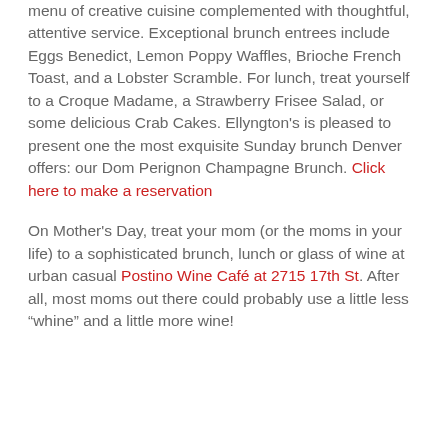menu of creative cuisine complemented with thoughtful, attentive service. Exceptional brunch entrees include Eggs Benedict, Lemon Poppy Waffles, Brioche French Toast, and a Lobster Scramble. For lunch, treat yourself to a Croque Madame, a Strawberry Frisee Salad, or some delicious Crab Cakes. Ellyngton's is pleased to present one the most exquisite Sunday brunch Denver offers: our Dom Perignon Champagne Brunch. Click here to make a reservation
On Mother's Day, treat your mom (or the moms in your life) to a sophisticated brunch, lunch or glass of wine at urban casual Postino Wine Café at 2715 17th St. After all, most moms out there could probably use a little less "whine" and a little more wine!